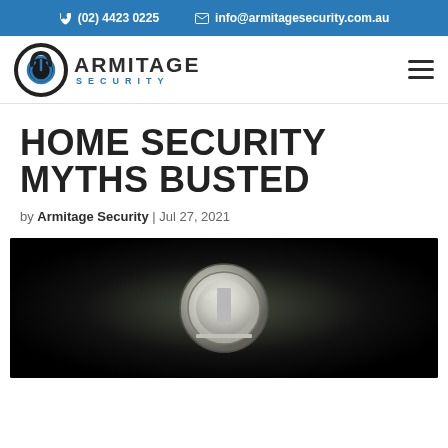(02) 4423 0225  info@armitagesecurity.com.au
[Figure (logo): Armitage Security logo with padlock icon]
HOME SECURITY MYTHS BUSTED
by Armitage Security | Jul 27, 2021
[Figure (photo): Close-up photo through a door peephole showing a room interior, dark vignette surround with a circular lens]